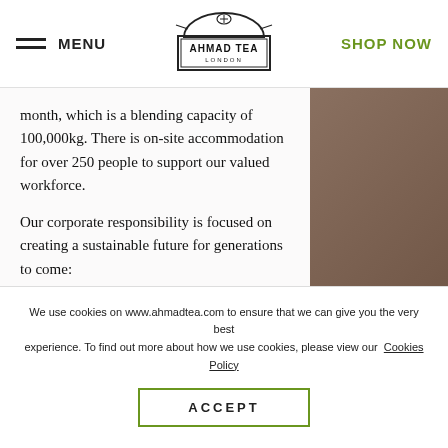MENU | AHMAD TEA LONDON | SHOP NOW
month, which is a blending capacity of 100,000kg. There is on-site accommodation for over 250 people to support our valued workforce.
Our corporate responsibility is focused on creating a sustainable future for generations to come:
– Our factory lighting & air conditioning units arecontrolled by the BMS system, which reduces our
We use cookies on www.ahmadtea.com to ensure that we can give you the very best experience. To find out more about how we use cookies, please view our Cookies Policy
ACCEPT